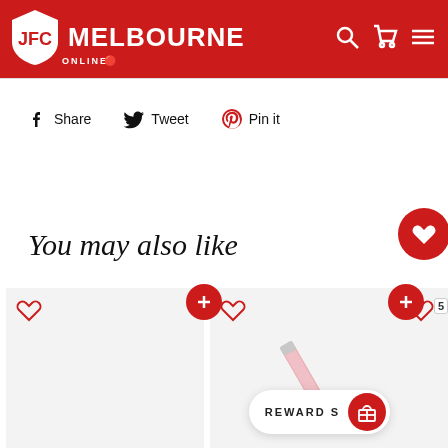JFC Melbourne Online
Share   Tweet   Pin it
You may also like
[Figure (screenshot): Product cards row with heart/wishlist icons, plus add-to-cart buttons, and a partial product image (pink/red pencil-like item) in the second card]
REWARDS